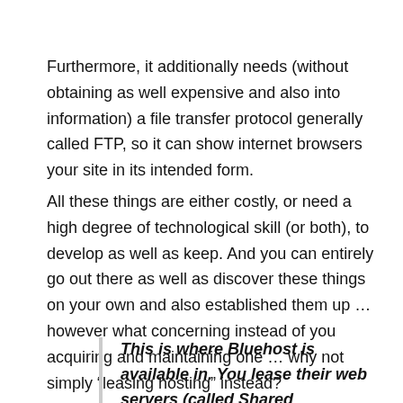Furthermore, it additionally needs (without obtaining as well expensive and also into information) a file transfer protocol generally called FTP, so it can show internet browsers your site in its intended form.
All these things are either costly, or need a high degree of technological skill (or both), to develop as well as keep. And you can entirely go out there as well as discover these things on your own and also established them up … however what concerning instead of you acquiring and maintaining one … why not simply “leasing hosting” instead?
This is where Bluehost is available in. You lease their web servers (called Shared